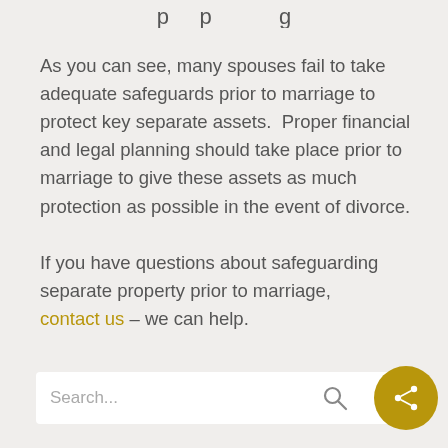…p p…g
As you can see, many spouses fail to take adequate safeguards prior to marriage to protect key separate assets.  Proper financial and legal planning should take place prior to marriage to give these assets as much protection as possible in the event of divorce.
If you have questions about safeguarding separate property prior to marriage, contact us – we can help.